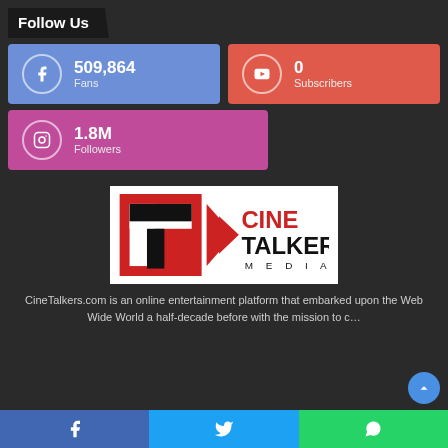Follow Us
[Figure (infographic): Facebook social card showing 509,864 Fans on blue background]
[Figure (infographic): YouTube social card showing 0 Subscribers on red background]
[Figure (infographic): Instagram social card showing 1.8M Followers on pink/magenta background]
[Figure (logo): CineTalkers Media logo — red and black graphic with CT initials and red arrow, text reads CINE TALKERS MEDIA]
CineTalkers.com is an online entertainment platform that embarked upon the Web Wide World a half-decade before with the mission to c…